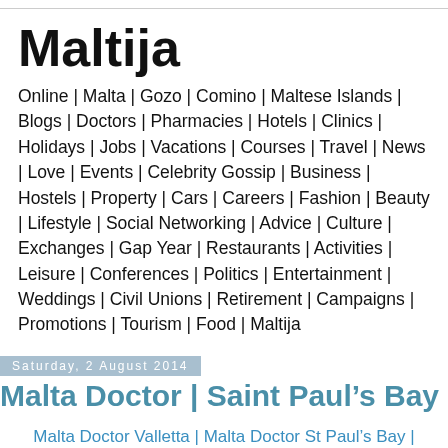Maltija
Online | Malta | Gozo | Comino | Maltese Islands | Blogs | Doctors | Pharmacies | Hotels | Clinics | Holidays | Jobs | Vacations | Courses | Travel | News | Love | Events | Celebrity Gossip | Business | Hostels | Property | Cars | Careers | Fashion | Beauty | Lifestyle | Social Networking | Advice | Culture | Exchanges | Gap Year | Restaurants | Activities | Leisure | Conferences | Politics | Entertainment | Weddings | Civil Unions | Retirement | Campaigns | Promotions | Tourism | Food | Maltija
Saturday, 2 August 2014
Malta Doctor | Saint Paul’s Bay
Malta Doctor Valletta | Malta Doctor St Paul’s Bay | Malta Doctor Sliema | Malta Doctor Bugibba | Malta Doctor St Julians | Malta Doctor Rabat | Malta Doctor | Gozo Doctor |